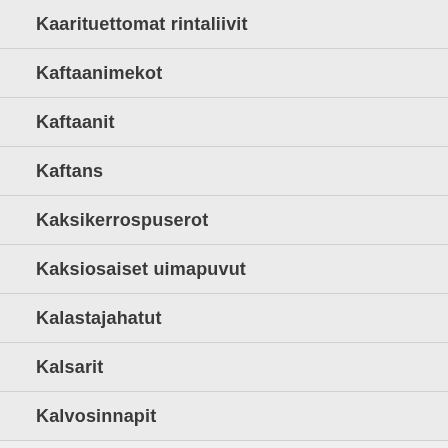Kaarituettomat rintaliivit
Kaftaanimekot
Kaftaanit
Kaftans
Kaksikerrospuserot
Kaksiosaiset uimapuvut
Kalastajahatut
Kalsarit
Kalvosinnapit